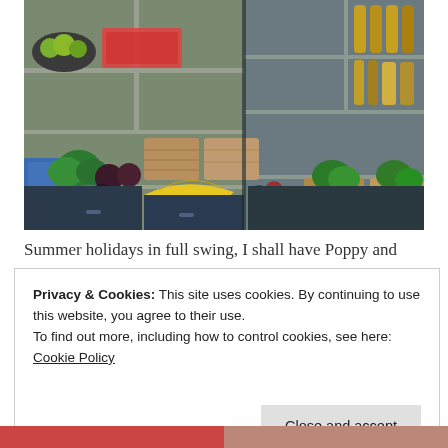[Figure (photo): A well-stocked walk-in pantry with shelves holding fruits, vegetables in wicker baskets and blue crates, bottles of juice and condiments, and various produce including bananas, broccoli, and grapes.]
Summer holidays in full swing, I shall have Poppy and
Privacy & Cookies: This site uses cookies. By continuing to use this website, you agree to their use.
To find out more, including how to control cookies, see here: Cookie Policy
Close and accept
[Figure (photo): Partial view of a photo at the bottom of the page, showing what appears to be food items.]